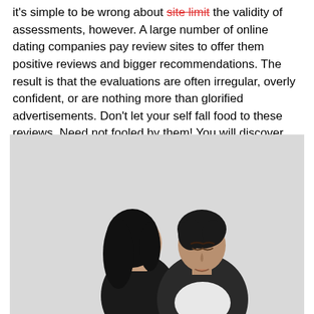it's simple to be wrong about site limit the validity of assessments, however. A large number of online dating companies pay review sites to offer them positive reviews and bigger recommendations. The result is that the evaluations are often irregular, overly confident, or are nothing more than glorified advertisements. Don't let your self fall food to these reviews. Need not fooled by them! You will discover other ways to tell which sites are good and which ones are bad.
[Figure (photo): A couple leaning together, a woman with dark hair resting her head against a man with dark hair who has his eyes closed, photographed against a light gray background.]